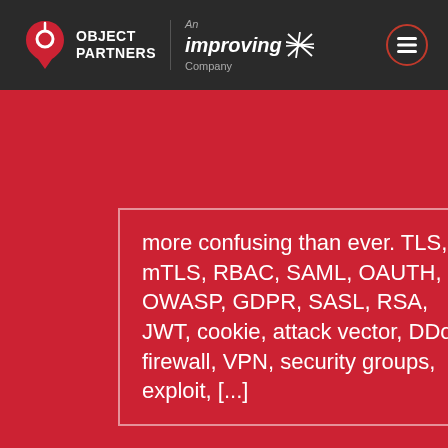Object Partners | An Improving Company
more confusing than ever. TLS, mTLS, RBAC, SAML, OAUTH, OWASP, GDPR, SASL, RSA, JWT, cookie, attack vector, DDoS, firewall, VPN, security groups, exploit, [...]